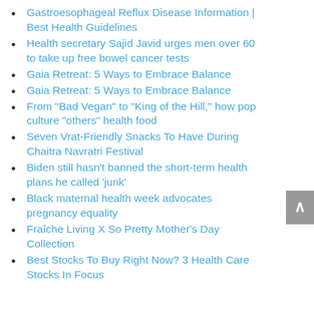Gastroesophageal Reflux Disease Information | Best Health Guidelines
Health secretary Sajid Javid urges men over 60 to take up free bowel cancer tests
Gaia Retreat: 5 Ways to Embrace Balance
Gaia Retreat: 5 Ways to Embrace Balance
From "Bad Vegan" to "King of the Hill," how pop culture "others" health food
Seven Vrat-Friendly Snacks To Have During Chaitra Navratri Festival
Biden still hasn't banned the short-term health plans he called 'junk'
Black maternal health week advocates pregnancy equality
Fraîche Living X So Pretty Mother's Day Collection
Best Stocks To Buy Right Now? 3 Health Care Stocks In Focus